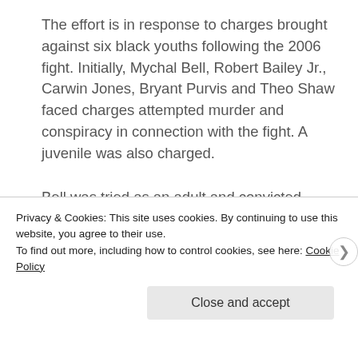The effort is in response to charges brought against six black youths following the 2006 fight. Initially, Mychal Bell, Robert Bailey Jr., Carwin Jones, Bryant Purvis and Theo Shaw faced charges attempted murder and conspiracy in connection with the fight. A juvenile was also charged.
Bell was tried as an adult and convicted before an appeals court overturned that action and said Bell's case should be handled in juvenile court. He is now going through
Privacy & Cookies: This site uses cookies. By continuing to use this website, you agree to their use.
To find out more, including how to control cookies, see here: Cookie Policy
Close and accept